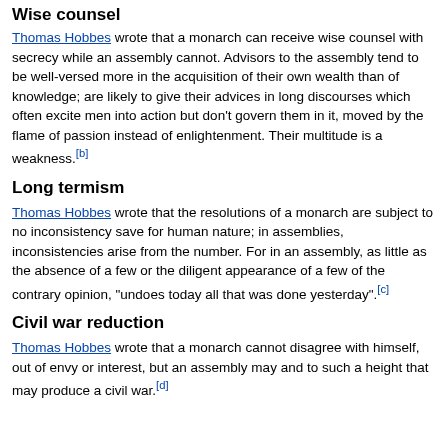Wise counsel
Thomas Hobbes wrote that a monarch can receive wise counsel with secrecy while an assembly cannot. Advisors to the assembly tend to be well-versed more in the acquisition of their own wealth than of knowledge; are likely to give their advices in long discourses which often excite men into action but don't govern them in it, moved by the flame of passion instead of enlightenment. Their multitude is a weakness.[b]
Long termism
Thomas Hobbes wrote that the resolutions of a monarch are subject to no inconsistency save for human nature; in assemblies, inconsistencies arise from the number. For in an assembly, as little as the absence of a few or the diligent appearance of a few of the contrary opinion, "undoes today all that was done yesterday".[c]
Civil war reduction
Thomas Hobbes wrote that a monarch cannot disagree with himself, out of envy or interest, but an assembly may and to such a height that may produce a civil war.[d]